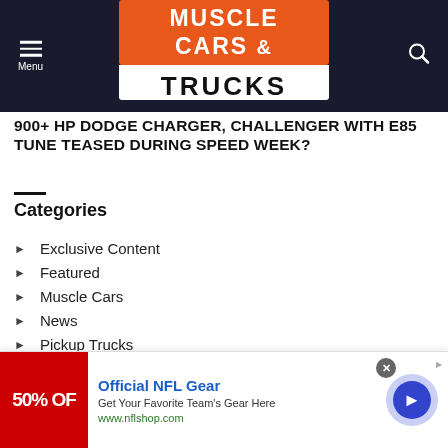Muscle Cars & Trucks — Menu / Search navigation header
900+ HP DODGE CHARGER, CHALLENGER WITH E85 TUNE TEASED DURING SPEED WEEK?
Categories
Exclusive Content
Featured
Muscle Cars
News
Pickup Trucks
Review
Sports Cars
[Figure (screenshot): Advertisement banner for Official NFL Gear showing 50% OFF red image, text 'Official NFL Gear', 'Get Your Favorite Team's Gear Here', 'www.nflshop.com', with a blue arrow button and close button]